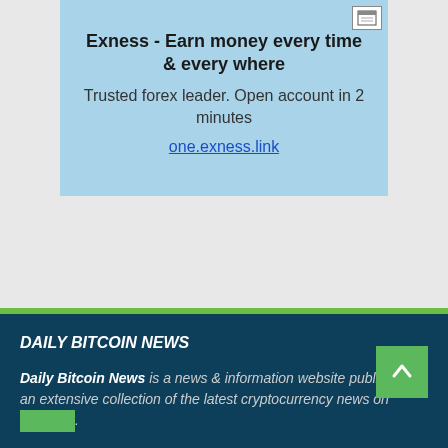[Figure (other): Advertisement banner with light blue background for Exness forex trading platform]
Exness - Earn money every time & every where
Trusted forex leader. Open account in 2 minutes
one.exness.link
DAILY BITCOIN NEWS
Daily Bitcoin News is a news & information website publishing an extensive collection of the latest cryptocurrency news on …
CONTACT US